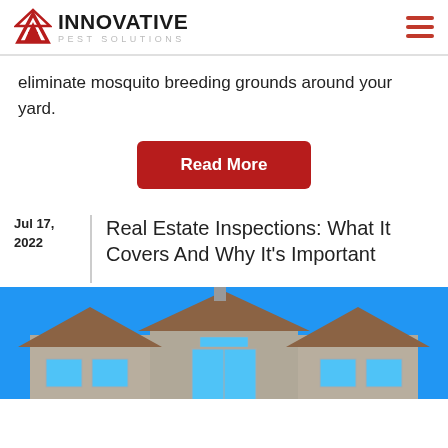INNOVATIVE PEST SOLUTIONS
eliminate mosquito breeding grounds around your yard.
Read More
Jul 17, 2022
Real Estate Inspections: What It Covers And Why It's Important
[Figure (photo): Photo of a house exterior with blue sky background, showing a tan/grey house with brown tile roof and blue-trimmed windows and garage door]